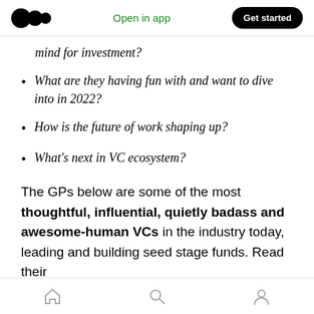Medium app header — logo, Open in app, Get started
mind for investment?
What are they having fun with and want to dive into in 2022?
How is the future of work shaping up?
What's next in VC ecosystem?
The GPs below are some of the most thoughtful, influential, quietly badass and awesome-human VCs in the industry today, leading and building seed stage funds. Read their
Bottom navigation bar — home, search, profile icons